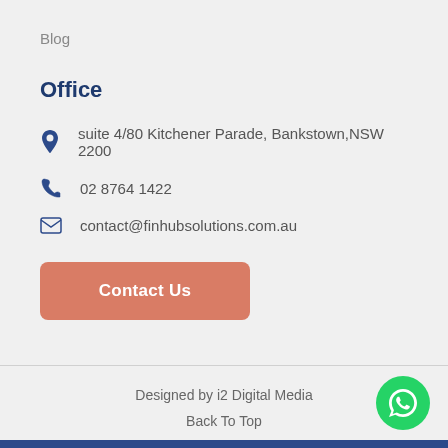Blog
Office
suite 4/80 Kitchener Parade, Bankstown,NSW 2200
02 8764 1422
contact@finhubsolutions.com.au
Contact Us
Designed by i2 Digital Media
Back To Top
[Figure (logo): WhatsApp button icon — green circle with white phone handset in speech bubble]